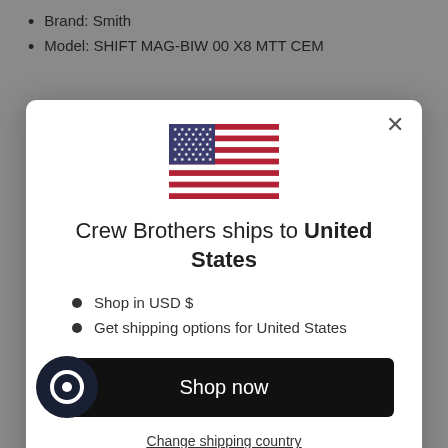Brand: Smith
Model: SHIFT MAG-BIW 00 X8 MTT CEM
[Figure (screenshot): Modal dialog showing US flag, text 'Crew Brothers ships to United States', bullet points 'Shop in USD $' and 'Get shipping options for United States', a black 'Shop now' button, and a 'Change shipping country' link. A close (X) button in top right corner.]
use lens curvature for slight wrap fit
Megol temples provide non-slip grip so glasses stay put